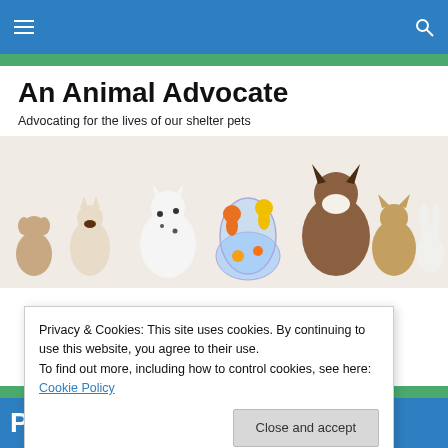An Animal Advocate — navigation bar with hamburger menu and search icon
An Animal Advocate
Advocating for the lives of our shelter pets
[Figure (photo): Group photo of various pets including a monkey, Siamese cat, Dalmatian, parrot, goldfish in bowl, Shetland sheepdog, tabby cat, rabbit, and guinea pig on white background]
Privacy & Cookies: This site uses cookies. By continuing to use this website, you agree to their use.
To find out more, including how to control cookies, see here: Cookie Policy
Close and accept
PETS AN ELECTION ISSUE